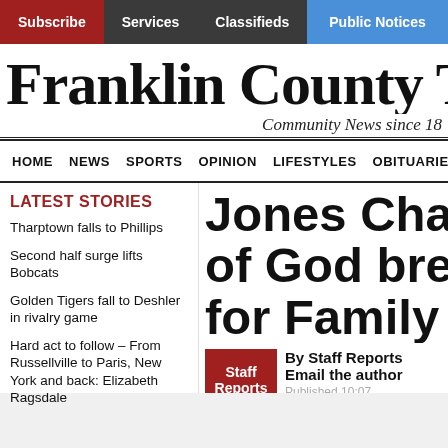Subscribe | Services | Classifieds | Public Notices
Franklin County Times
Community News since 18
HOME  NEWS  SPORTS  OPINION  LIFESTYLES  OBITUARIES
LATEST STORIES
Tharptown falls to Phillips
Second half surge lifts Bobcats
Golden Tigers fall to Deshler in rivalry game
Hard act to follow – From Russellville to Paris, New York and back: Elizabeth Ragsdale
Jones Chapel of God breaks for Family Lif
By Staff Reports
Email the author
Published 19:07...